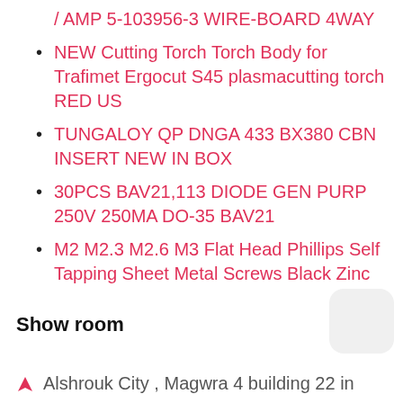/ AMP 5-103956-3 WIRE-BOARD 4WAY
NEW Cutting Torch Torch Body for Trafimet Ergocut S45 plasmacutting torch RED US
TUNGALOY QP DNGA 433 BX380 CBN INSERT NEW IN BOX
30PCS BAV21,113 DIODE GEN PURP 250V 250MA DO-35 BAV21
M2 M2.3 M2.6 M3 Flat Head Phillips Self Tapping Sheet Metal Screws Black Zinc
Show room
Alshrouk City , Magwra 4 building 22 in